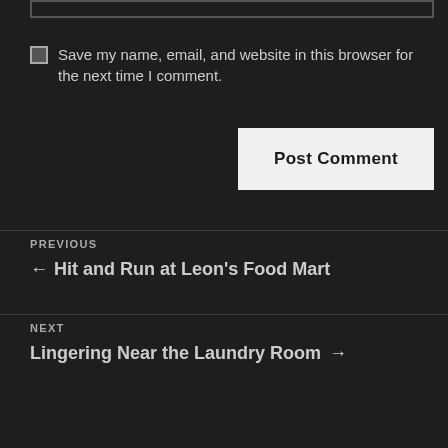Save my name, email, and website in this browser for the next time I comment.
Post Comment
PREVIOUS
← Hit and Run at Leon's Food Mart
NEXT
Lingering Near the Laundry Room →